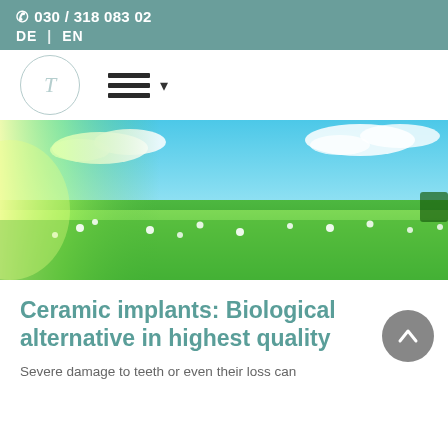030 / 318 083 02
DE | EN
[Figure (logo): Circular logo with letter T in serif italic font]
[Figure (photo): Bright sunny meadow with white flowers and green grass under a blue sky with white clouds]
Ceramic implants: Biological alternative in highest quality
Severe damage to teeth or even their loss can